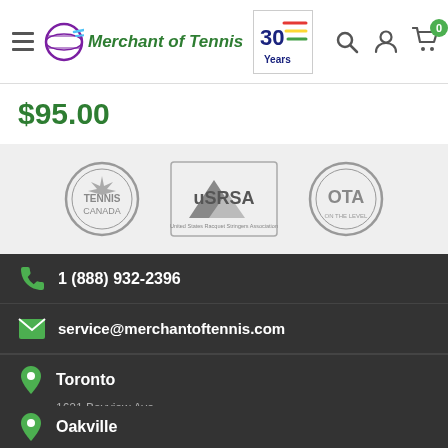Merchant of Tennis — 30 Years
$95.00
[Figure (logo): Partner logos: Tennis Canada, USRSA (United States Racquet Stringers Association), OTA]
1 (888) 932-2396
service@merchantoftennis.com
Toronto
1621 Bayview Ave
Toronto, ON M4G 3B5
Canada
416-932-2396
Oakville